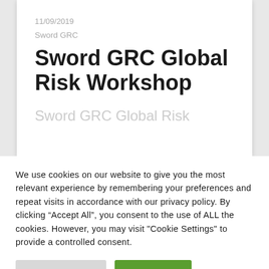11/09/2019
Sword GRC
Sword GRC Global Risk Workshop
Sword GRC Global Risk
We use cookies on our website to give you the most relevant experience by remembering your preferences and repeat visits in accordance with our privacy policy. By clicking “Accept All”, you consent to the use of ALL the cookies. However, you may visit "Cookie Settings" to provide a controlled consent.
Cookie Settings
Accept All